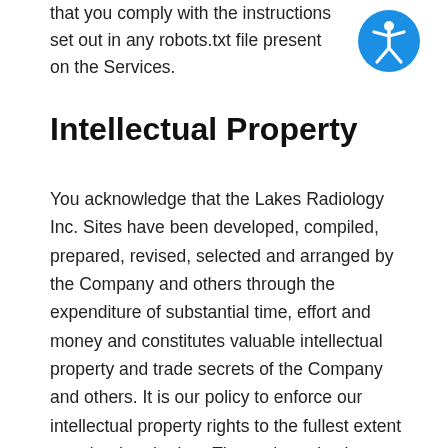that you comply with the instructions set out in any robots.txt file present on the Services.
[Figure (illustration): Accessibility icon: blue circle with white stylized human figure with arms and legs spread, representing accessibility features.]
Intellectual Property
You acknowledge that the Lakes Radiology Inc. Sites have been developed, compiled, prepared, revised, selected and arranged by the Company and others through the expenditure of substantial time, effort and money and constitutes valuable intellectual property and trade secrets of the Company and others. It is our policy to enforce our intellectual property rights to the fullest extent permitted under law. The trademarks, logos and service marks (“Marks”) displayed on the Lakes Radiology Inc. Sites are the property of the Company or third parties and cannot be used without the written permission of the Company or the third party that owns the Marks. The Site is also protected